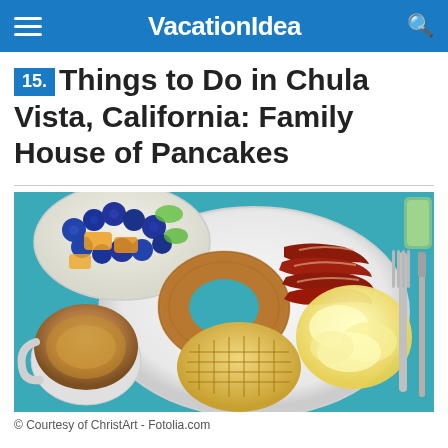VacationIdea
15. Things to Do in Chula Vista, California: Family House of Pancakes
[Figure (photo): A plate with a bagel, crispy bacon, scrambled eggs, and a waffle, accompanied by a bowl of mixed fruit (blueberries, mango pieces) and a cup of coffee on a teal/blue tablecloth, with a fork on the right side.]
© Courtesy of ChristArt - Fotolia.com